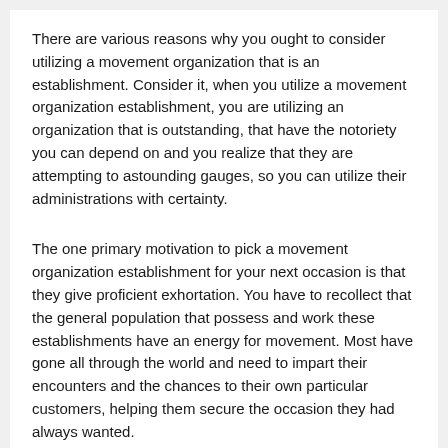There are various reasons why you ought to consider utilizing a movement organization that is an establishment. Consider it, when you utilize a movement organization establishment, you are utilizing an organization that is outstanding, that have the notoriety you can depend on and you realize that they are attempting to astounding gauges, so you can utilize their administrations with certainty.
The one primary motivation to pick a movement organization establishment for your next occasion is that they give proficient exhortation. You have to recollect that the general population that possess and work these establishments have an energy for movement. Most have gone all through the world and need to impart their encounters and the chances to their own particular customers, helping them secure the occasion they had always wanted.
Furthermore, the dominant part of movement organization establishments offer you extraordinary